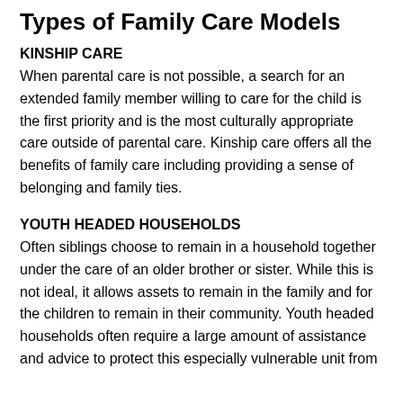Types of Family Care Models
KINSHIP CARE
When parental care is not possible, a search for an extended family member willing to care for the child is the first priority and is the most culturally appropriate care outside of parental care. Kinship care offers all the benefits of family care including providing a sense of belonging and family ties.
YOUTH HEADED HOUSEHOLDS
Often siblings choose to remain in a household together under the care of an older brother or sister. While this is not ideal, it allows assets to remain in the family and for the children to remain in their community. Youth headed households often require a large amount of assistance and advice to protect this especially vulnerable unit from